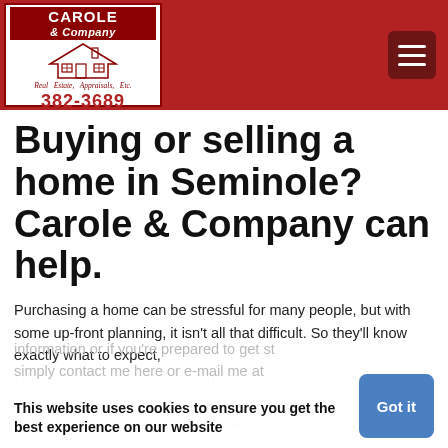[Figure (logo): Carole & Company Real Estate, Appraisals, Etc. logo with house illustration and phone number 382-3689]
Buying or selling a home in Seminole? Carole & Company can help.
Purchasing a home can be stressful for many people, but with some up-front planning, it isn't all that difficult. So they'll know exactly what to expect, I'll provide buyers with an outline of the entire deal. These are my nine steps to purchasing a home. Should you have questions regarding any of this information or if you're prepared to get started, simply contact me here or e-mail me at
This website uses cookies to ensure you get the best experience on our website